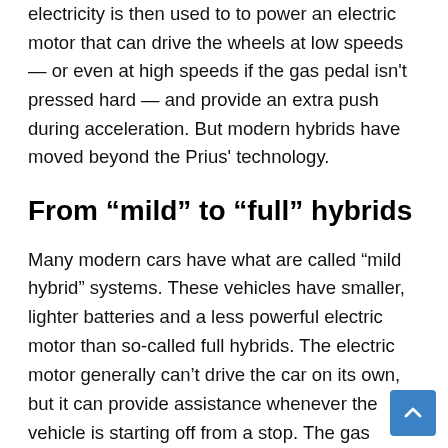electricity is then used to to power an electric motor that can drive the wheels at low speeds — or even at high speeds if the gas pedal isn't pressed hard — and provide an extra push during acceleration. But modern hybrids have moved beyond the Prius' technology.
From “mild” to “full” hybrids
Many modern cars have what are called “mild hybrid” systems. These vehicles have smaller, lighter batteries and a less powerful electric motor than so-called full hybrids. The electric motor generally can’t drive the car on its own, but it can provide assistance whenever the vehicle is starting off from a stop. The gas engine